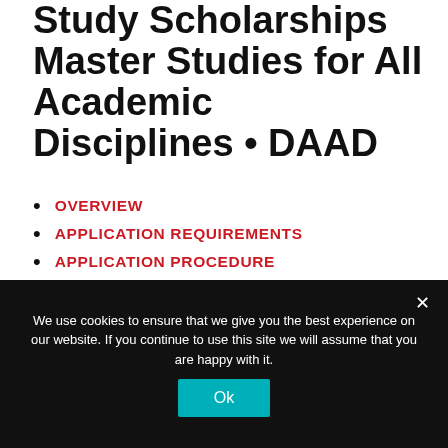Study Scholarships Master Studies for All Academic Disciplines • DAAD
OVERVIEW
APPLICATION REQUIREMENTS
APPLICATION PROCEDURE
CONTACT AND CONSULTING
SUBMITTING AN APPLICATION
We use cookies to ensure that we give you the best experience on our website. If you continue to use this site we will assume that you are happy with it.